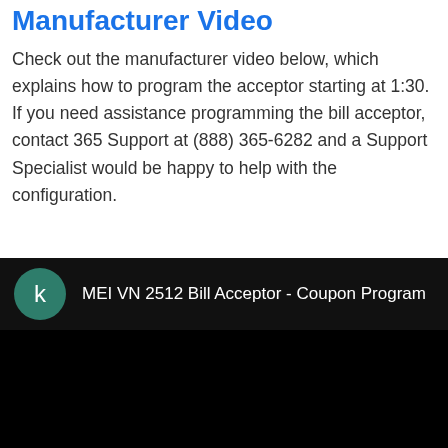Manufacturer Video
Check out the manufacturer video below, which explains how to program the acceptor starting at 1:30. If you need assistance programming the bill acceptor, contact 365 Support at (888) 365-6282 and a Support Specialist would be happy to help with the configuration.
[Figure (screenshot): Embedded video player showing 'MEI VN 2512 Bill Acceptor - Coupon Program' with a dark green avatar with letter 'k' and black video area.]